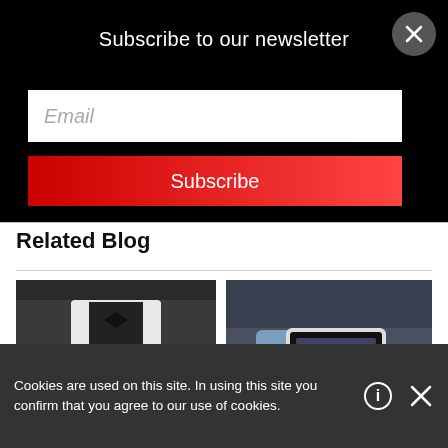Subscribe to our newsletter
Email
Subscribe
Related Blog
[Figure (photo): Person in black vest handling playing cards]
[Figure (photo): Person holding a tablet device]
Cookies are used on this site. In using this site you confirm that you agree to our use of cookies.